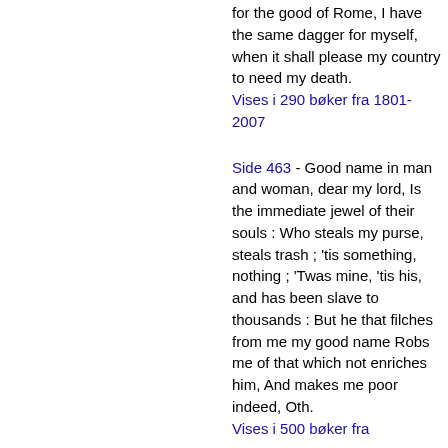for the good of Rome, I have the same dagger for myself, when it shall please my country to need my death.
Vises i 290 bøker fra 1801-2007
Side 463 - Good name in man and woman, dear my lord, Is the immediate jewel of their souls : Who steals my purse, steals trash ; 'tis something, nothing ; 'Twas mine, 'tis his, and has been slave to thousands : But he that filches from me my good name Robs me of that which not enriches him, And makes me poor indeed, Oth.
Vises i 500 bøker fra